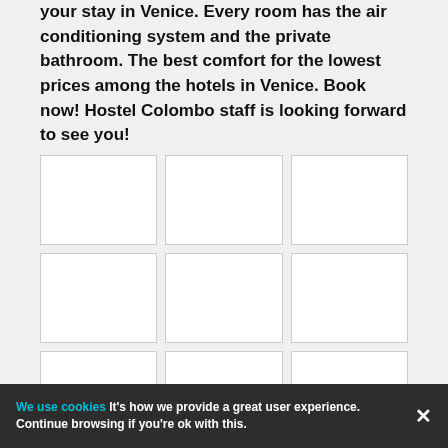your stay in Venice. Every room has the air conditioning system and the private bathroom. The best comfort for the lowest prices among the hotels in Venice. Book now! Hostel Colombo staff is looking forward to see you!
[Figure (photo): 3x4 grid of placeholder white image tiles arranged in a gallery layout on a light grey background]
We use cookies  It's how we provide a great user experience. Continue browsing if you're ok with this.